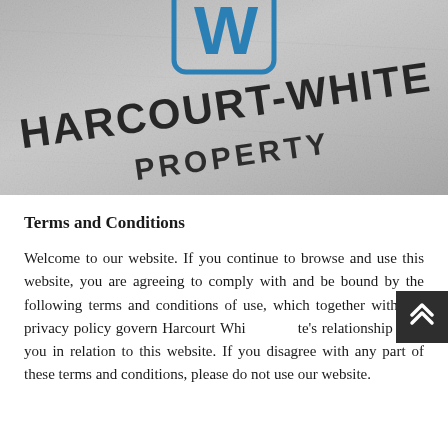[Figure (logo): Harcourt-White Property logo embossed on grey textured paper background. Blue stylized 'W' icon at top, with 'HARCOURT-WHITE' and 'PROPERTY' text in bold dark letters.]
Terms and Conditions
Welcome to our website. If you continue to browse and use this website, you are agreeing to comply with and be bound by the following terms and conditions of use, which together with our privacy policy govern Harcourt White's relationship with you in relation to this website. If you disagree with any part of these terms and conditions, please do not use our website.